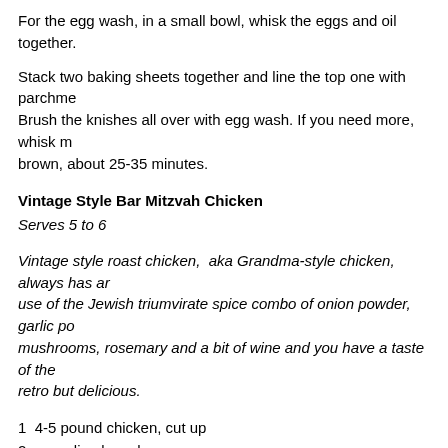For the egg wash, in a small bowl, whisk the eggs and oil together.
Stack two baking sheets together and line the top one with parchme... Brush the knishes all over with egg wash. If you need more, whisk m... brown, about 25-35 minutes.
Vintage Style Bar Mitzvah Chicken
Serves 5 to 6
Vintage style roast chicken, aka Grandma-style chicken, always has ar... use of the Jewish triumvirate spice combo of onion powder, garlic po... mushrooms, rosemary and a bit of wine and you have a taste of the ... retro but delicious.
1  4-5 pound chicken, cut up
2 cups sliced mushrooms
1 cup sliced onions
1 1/2 cups baby carrots
6 garlic cloves, peeled
1/2 cup water or chicken broth
1/4 cup white wine
Salt and freshly ground black pepper
1 tablespoon onion powder
1 tablespoon garlic powder
2 tablespoons paprika